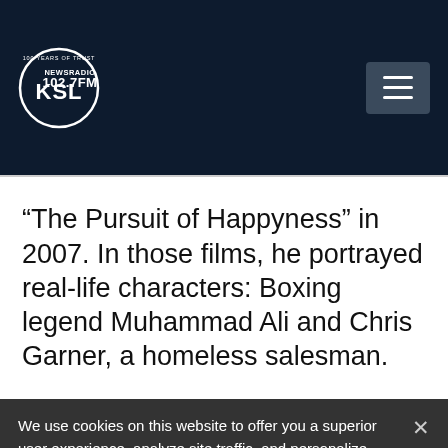[Figure (logo): KSL NewsRadio 102.7FM logo with circle and '100 Years of Trust' tagline]
“The Pursuit of Happyness” in 2007. In those films, he portrayed real-life characters: Boxing legend Muhammad Ali and Chris Garner, a homeless salesman.
We use cookies on this website to offer you a superior user experience, analyze site traffic, and personalize content and advertisements. By continuing to use our site, you consent to our use of cookies. Please visit our Privacy Policy for more information.
Accept Cookies